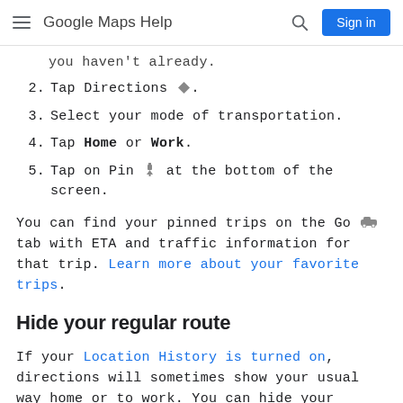Google Maps Help
you haven't already.
2. Tap Directions [icon].
3. Select your mode of transportation.
4. Tap Home or Work.
5. Tap on Pin [icon] at the bottom of the screen.
You can find your pinned trips on the Go [icon] tab with ETA and traffic information for that trip. Learn more about your favorite trips.
Hide your regular route
If your Location History is turned on, directions will sometimes show your usual way home or to work. You can hide your regular route in Google Maps at any time.
1. Tap your profile picture or initial [icon] > Settings >